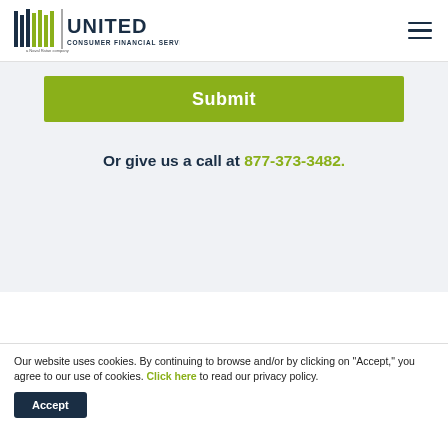United Consumer Financial Services
[Figure (logo): United Consumer Financial Services logo with vertical bars graphic and text]
Submit
Or give us a call at 877-373-3482.
Our website uses cookies. By continuing to browse and/or by clicking on "Accept," you agree to our use of cookies. Click here to read our privacy policy.
Accept